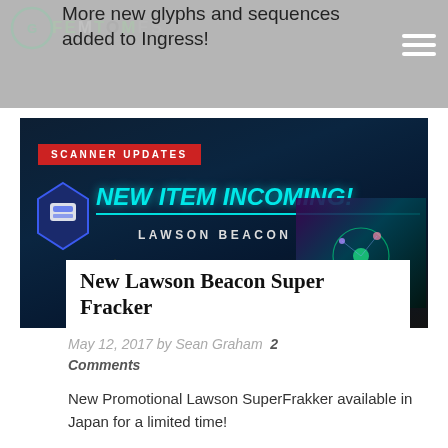More new glyphs and sequences added to Ingress!
[Figure (screenshot): Ingress game promotional banner showing SCANNER UPDATES badge, NEW ITEM INCOMING! text in cyan, and LAWSON BEACON label with game imagery]
New Lawson Beacon Super Fracker
May 12, 2017 by Sean Graham  2 Comments
New Promotional Lawson SuperFrakker available in Japan for a limited time!